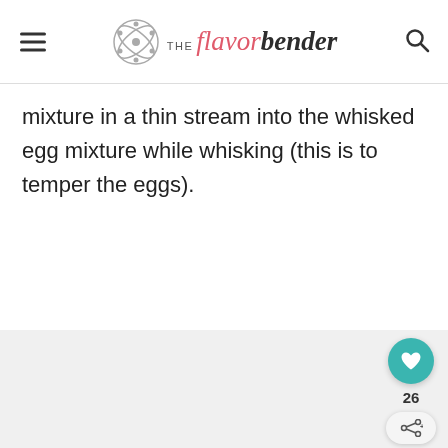THE flavor bender
mixture in a thin stream into the whisked egg mixture while whisking (this is to temper the eggs).
[Figure (photo): Light gray placeholder image area below the text content]